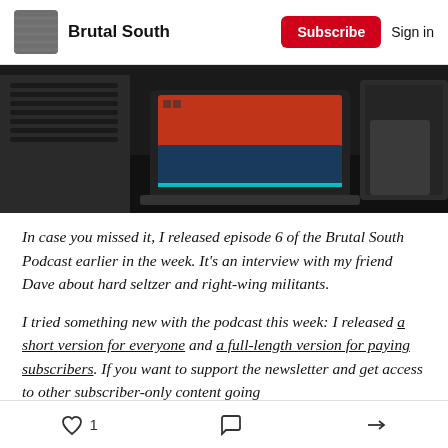Brutal South | Subscribe | Sign in
[Figure (photo): A laptop with an orange/red glowing screen on a dark desk, flanked by what appears to be a speaker or fan on the left and a dark book or device on the right.]
In case you missed it, I released episode 6 of the Brutal South Podcast earlier in the week. It's an interview with my friend Dave about hard seltzer and right-wing militants.
I tried something new with the podcast this week: I released a short version for everyone and a full-length version for paying subscribers. If you want to support the newsletter and get access to other subscriber-only content going